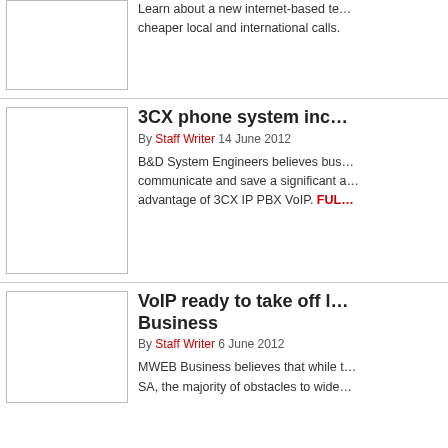[Figure (photo): Thumbnail image placeholder for first article (top, cropped)]
Learn about a new internet-based te… cheaper local and international calls.
[Figure (photo): Thumbnail image placeholder for 3CX phone system article]
3CX phone system inc…
By Staff Writer 14 June 2012
B&D System Engineers believes bus… communicate and save a significant a… advantage of 3CX IP PBX VoIP. FULL…
[Figure (photo): Thumbnail image placeholder for VoIP article]
VoIP ready to take off l… Business
By Staff Writer 6 June 2012
MWEB Business believes that while t… SA, the majority of obstacles to wide…